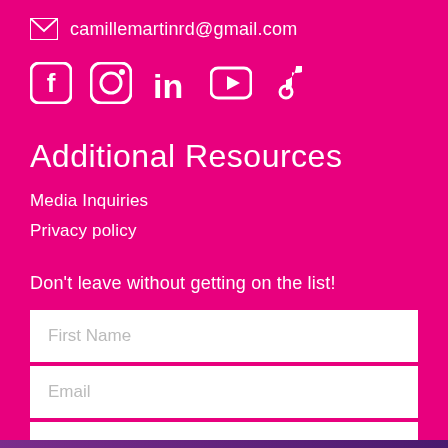camillemartinrd@gmail.com
[Figure (illustration): Social media icons: Facebook, Instagram, LinkedIn, YouTube, TikTok in white on magenta background]
Additional Resources
Media Inquiries
Privacy policy
Don't leave without getting on the list!
First Name
Email
Subscribe!